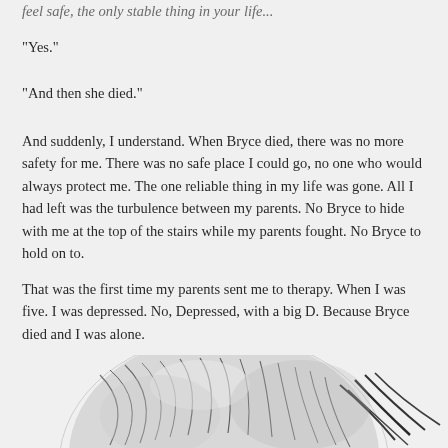feel safe, the only stable thing in your life...
“Yes.”
“And then she died.”
And suddenly, I understand. When Bryce died, there was no more safety for me. There was no safe place I could go, no one who would always protect me. The one reliable thing in my life was gone. All I had left was the turbulence between my parents. No Bryce to hide with me at the top of the stairs while my parents fought. No Bryce to hold on to.
That was the first time my parents sent me to therapy. When I was five. I was depressed. No, Depressed, with a big D. Because Bryce died and I was alone.
[Figure (illustration): Pencil sketch illustration of a person with head bowed, showing top of head with detailed hair rendering, cropped at bottom of page.]